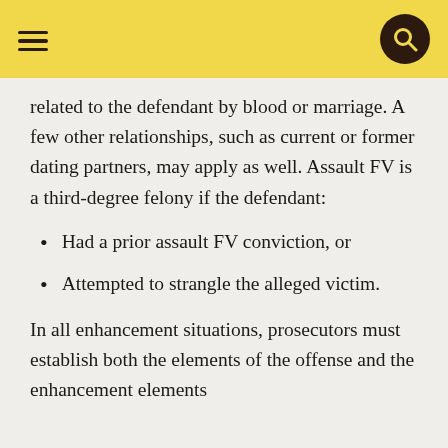related to the defendant by blood or marriage. A few other relationships, such as current or former dating partners, may apply as well. Assault FV is a third-degree felony if the defendant:
Had a prior assault FV conviction, or
Attempted to strangle the alleged victim.
In all enhancement situations, prosecutors must establish both the elements of the offense and the enhancement elements beyond a reasonable doubt.